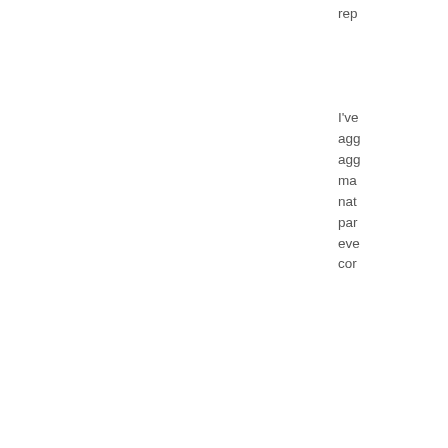rep...
I've agg... agg... ma... nat... par... eve... cor...
In f dat... can... mu... dis... wh... mo... the...
We ge... net... nu...